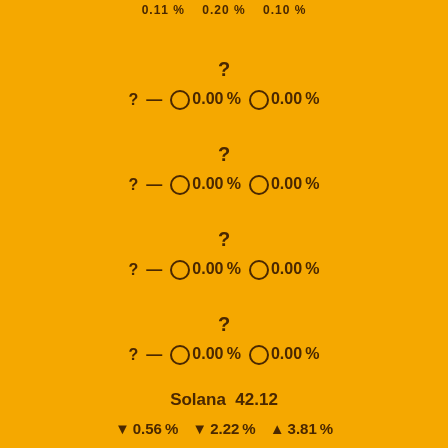0.11%   0.20%   0.10%
?
?—   O 0.00%   O 0.00%
?
?—   O 0.00%   O 0.00%
?
?—   O 0.00%   O 0.00%
?
?—   O 0.00%   O 0.00%
Solana  42.12
▼ 0.56%   ▼ 2.22%   ▲ 3.81%
?
?—   O 0.00%   O 0.00%